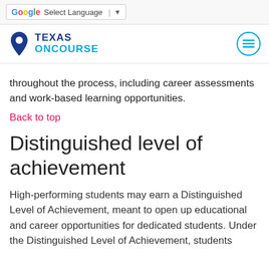Select Language
[Figure (logo): Texas OnCourse logo with location pin icon and hamburger menu button]
throughout the process, including career assessments and work-based learning opportunities.
Back to top
Distinguished level of achievement
High-performing students may earn a Distinguished Level of Achievement, meant to open up educational and career opportunities for dedicated students. Under the Distinguished Level of Achievement, students